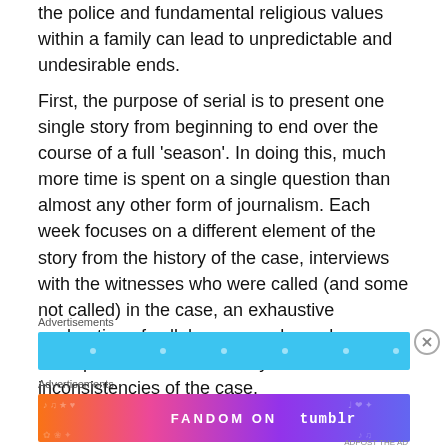the police and fundamental religious values within a family can lead to unpredictable and undesirable ends.
First, the purpose of serial is to present one single story from beginning to end over the course of a full 'season'. In doing this, much more time is spent on a single question than almost any other form of journalism. Each week focuses on a different element of the story from the history of the case, interviews with the witnesses who were called (and some not called) in the case, an exhaustive exploration of cellphone records, and even one episode devoted entirely to the inconsistencies of the case.
Advertisements
[Figure (other): Light blue advertisement banner with decorative dots]
Advertisements
[Figure (other): FANDOM ON tumblr colorful advertisement banner with gradient background in orange, pink, and purple]